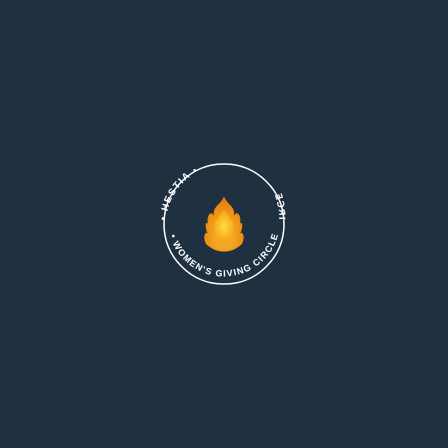[Figure (logo): Circular logo for Hestia Women's Giving Circle. A dark navy circle outline contains a flame icon in the center (orange and yellow gradient flame). Text curves around the circle: 'HESTIA' on the upper left and '• CIRCLE' mirrored/reversed on the upper right, and '• WOMEN'S GIVING CIRC' along the bottom arc. All text is white on the dark background.]